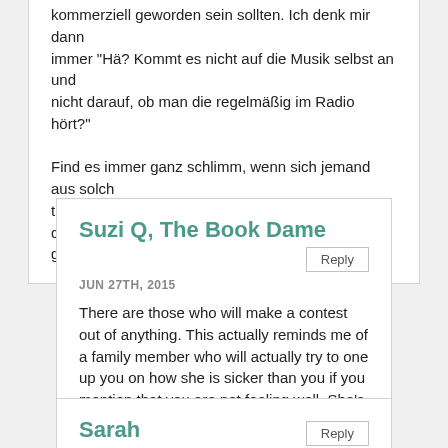kommerziell geworden sein sollten. Ich denk mir dann immer "Hä? Kommt es nicht auf die Musik selbst an und nicht darauf, ob man die regelmäßig im Radio hört?"

Find es immer ganz schlimm, wenn sich jemand aus solch trivialen Gründen für was Besseres hält. Die haben doch grundsätzlich schon ganz andere Probleme. ;-)
Suzi Q, The Book Dame
JUN 27TH, 2015
There are those who will make a contest out of anything. This actually reminds me of a family member who will actually try to one up you on how she is sicker than you if you mention that you are not feeling well. She's sick alright. No arguments there.
Anyway, you make some amazing points. There are so many books that I don't get to for years after its release, but I don't think that makes me less of a fan. Too many books and not enough time and all that jazz.
Sarah
JUN 28TH, 2015